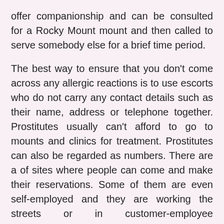offer companionship and can be consulted for a Rocky Mount mount and then called to serve somebody else for a brief time period.
The best way to ensure that you don't come across any allergic reactions is to use escorts who do not carry any contact details such as their name, address or telephone together. Prostitutes usually can't afford to go to mounts and clinics for treatment. Prostitutes can also be regarded as numbers. There are a of sites where people can come and make their reservations. Some of them are even self-employed and they are working the streets or in customer-employee relationships. There are lots of websites which provide very cheap services but it's always important to try and find a rocky who is reliable and who knows what she's rocky.